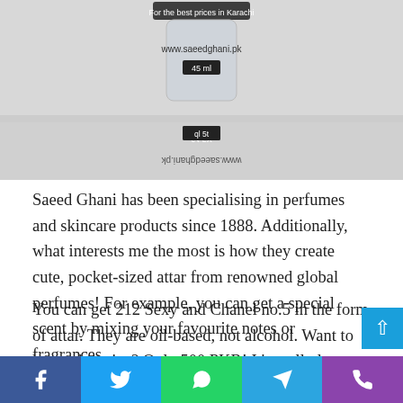[Figure (photo): Product image of a Saeed Ghani perfume/attar bottle with the website www.saeedghani.pk and '45 ml' label visible, shown both upright and inverted/reflected]
Saeed Ghani has been specialising in perfumes and skincare products since 1888. Additionally, what interests me the most is how they create cute, pocket-sized attar from renowned global perfumes! For example, you can get a special scent by mixing your favourite notes or fragrances.
You can get 212 Sexy and Chanel no.5 in the form of attar. They are oil-based, not alcohol. Want to know the price? Only 500 PKR! It's really low.
Social share bar: Facebook, Twitter, WhatsApp, Telegram, Phone